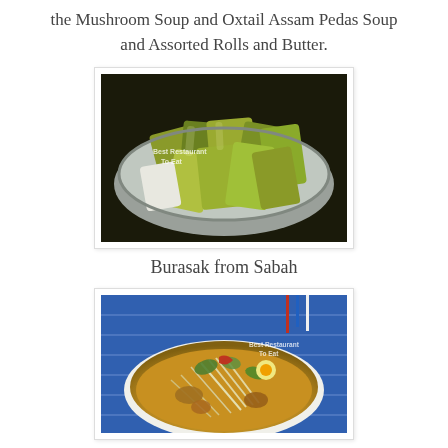the Mushroom Soup and Oxtail Assam Pedas Soup and Assorted Rolls and Butter.
[Figure (photo): Photo of banana leaf wrapped parcels (burasak) in a metal steaming tray, with a watermark reading 'Best Restaurant To Eat']
Burasak from Sabah
[Figure (photo): Photo of a curry dish with vegetables and garnishes on a plate with a patterned tablecloth, with a watermark reading 'Best Restaurant To Eat']